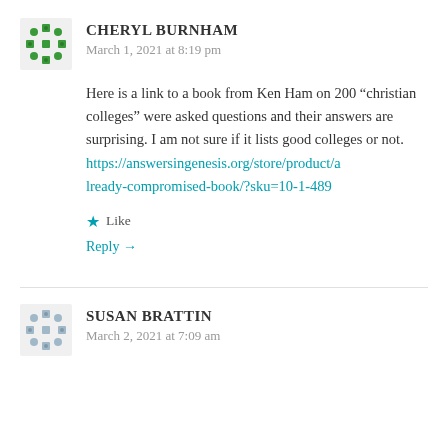CHERYL BURNHAM
March 1, 2021 at 8:19 pm
Here is a link to a book from Ken Ham on 200 “christian colleges” were asked questions and their answers are surprising. I am not sure if it lists good colleges or not. https://answersingenesis.org/store/product/already-compromised-book/?sku=10-1-489
Like
Reply →
SUSAN BRATTIN
March 2, 2021 at 7:09 am